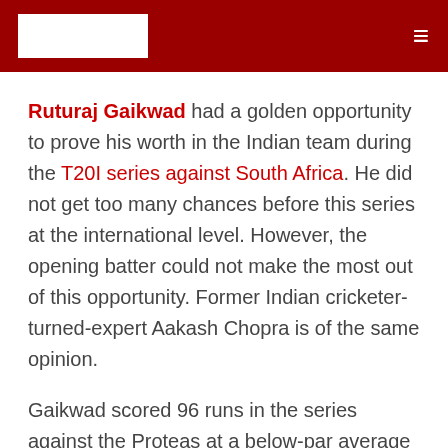[Logo] ≡
Ruturaj Gaikwad had a golden opportunity to prove his worth in the Indian team during the T20I series against South Africa. He did not get too many chances before this series at the international level. However, the opening batter could not make the most out of this opportunity. Former Indian cricketer-turned-expert Aakash Chopra is of the same opinion.
Gaikwad scored 96 runs in the series against the Proteas at a below-par average of 19.20. He did play a superb 57-run knock in Visakhapatnam but was unable to make any further significant contribution.